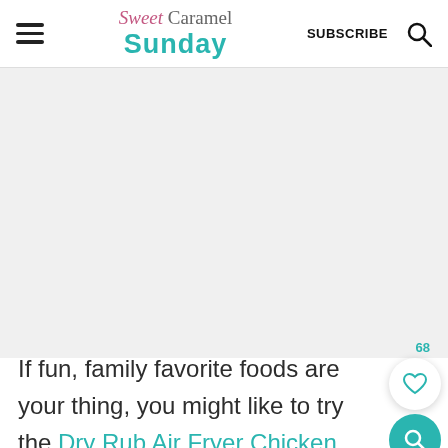Sweet Caramel Sunday | SUBSCRIBE
[Figure (other): Advertisement placeholder area, light gray background]
If fun, family favorite foods are your thing, you might like to try the Dry Rub Air Fryer Chicken Wings, Air Fryer Sausage Rolls or